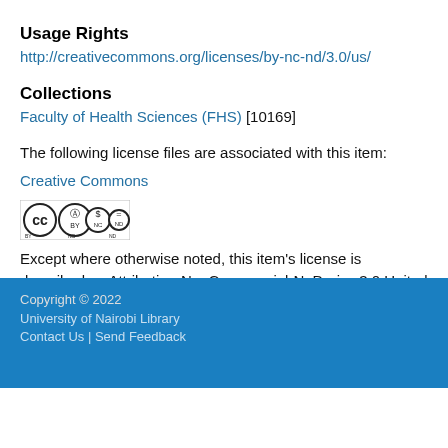Usage Rights
http://creativecommons.org/licenses/by-nc-nd/3.0/us/
Collections
Faculty of Health Sciences (FHS) [10169]
The following license files are associated with this item:
Creative Commons
[Figure (logo): Creative Commons BY-NC-ND license badge icon]
Except where otherwise noted, this item's license is described as Attribution-NonCommercial-NoDerivs 3.0 United States
Copyright © 2022
University of Nairobi Library
Contact Us | Send Feedback